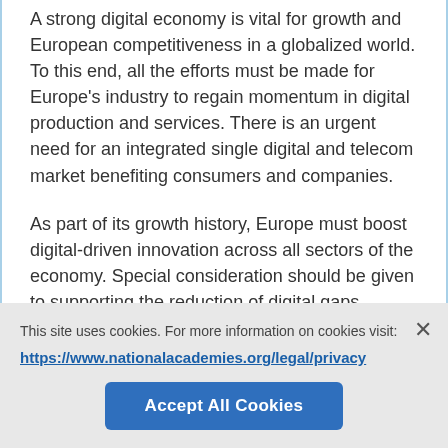A strong digital economy is vital for growth and European competitiveness in a globalized world. To this end, all the efforts must be made for Europe's industry to regain momentum in digital production and services. There is an urgent need for an integrated single digital and telecom market benefiting consumers and companies.
As part of its growth history, Europe must boost digital-driven innovation across all sectors of the economy. Special consideration should be given to supporting the reduction of digital gaps among Member States.
Several strategic technologies, such as Big Data and cloud computing, are important enablers for productivity and better services. Cloud computing should improve access to data and simplify their sharing. Big Data aims
This site uses cookies. For more information on cookies visit:
https://www.nationalacademies.org/legal/privacy
Accept All Cookies